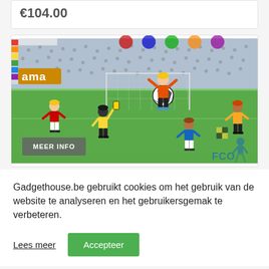€104.00
[Figure (illustration): Pixel-art style football/soccer scene showing cartoon characters on a green football pitch with a stadium background, goal, soccer ball, players in red, blue, yellow jerseys, a referee holding a yellow card. Text 'ama' visible on left side, 'FCOT' logo bottom right.]
MEER INFO
Gadgethouse.be gebruikt cookies om het gebruik van de website te analyseren en het gebruikersgemak te verbeteren.
Lees meer
Accepteer